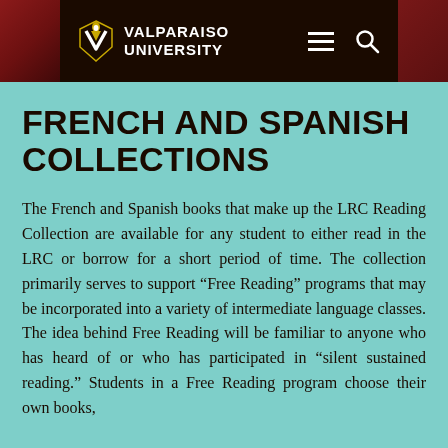VALPARAISO UNIVERSITY
FRENCH AND SPANISH COLLECTIONS
The French and Spanish books that make up the LRC Reading Collection are available for any student to either read in the LRC or borrow for a short period of time. The collection primarily serves to support “Free Reading” programs that may be incorporated into a variety of intermediate language classes. The idea behind Free Reading will be familiar to anyone who has heard of or who has participated in “silent sustained reading.” Students in a Free Reading program choose their own books,